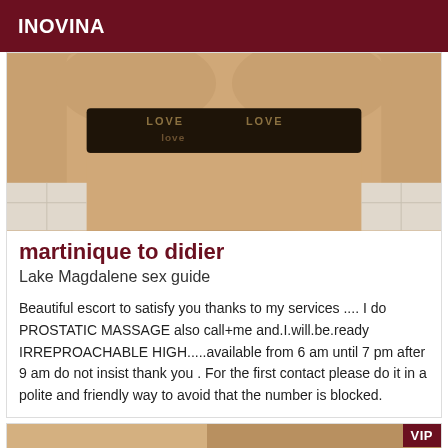INOVINA
[Figure (photo): Close-up photo of a person's torso wearing a black sports bra/bikini top with 'LOVE' text printed on the band, skin visible above and below]
martinique to didier
Lake Magdalene sex guide
Beautiful escort to satisfy you thanks to my services .... I do PROSTATIC MASSAGE also call+me and.I.will.be.ready IRREPROACHABLE HIGH.....available from 6 am until 7 pm after 9 am do not insist thank you . For the first contact please do it in a polite and friendly way to avoid that the number is blocked.
[Figure (photo): Partial photo of a person, bottom portion visible, with VIP badge overlay in top right corner]